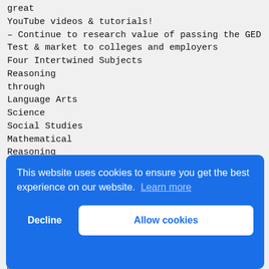great
YouTube videos & tutorials!
– Continue to research value of passing the GED
Test & market to colleges and employers
Four Intertwined Subjects
Reasoning through Language Arts
Science
Social Studies
Mathematical Reasoning
Content from Real Life Scenarios
Reasoning through Language Arts
Science
Social Studies
Mathematical Reasoning
Writing Constructed Responses
This website uses cookies to ensure you get the best experience on our website. Learn more
Decline | Allow cookies